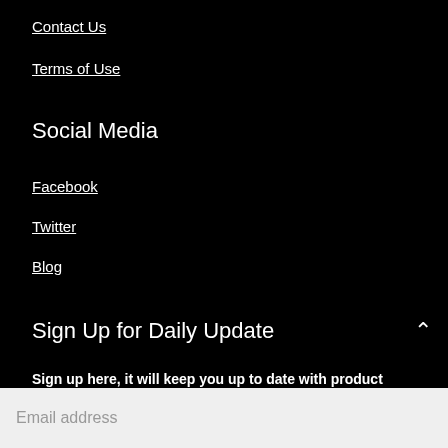Contact Us
Terms of Use
Social Media
Facebook
Twitter
Blog
Sign Up for Daily Update
Sign up here, it will keep you up to date with product reviews…
Email address